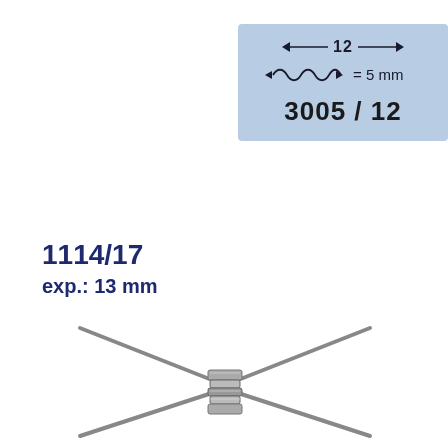[Figure (schematic): Blue box schematic showing dimension '12' with arrows, coil symbol '= 5 mm', and part number '3005/12']
1114/17
exp.: 13 mm
[Figure (photo): Medical device component showing crossed wires meeting at a central cylindrical connector/coupler with multiple segments, arranged in an X pattern]